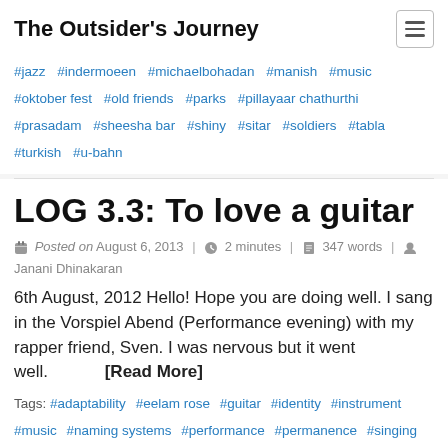The Outsider's Journey
#jazz #indermoeen #michaelbohadan #manish #music #oktober fest #old friends #parks #pillayaar chathurthi #prasadam #sheesha bar #shiny #sitar #soldiers #tabla #turkish #u-bahn
LOG 3.3: To love a guitar
Posted on August 6, 2013 | 2 minutes | 347 words | Janani Dhinakaran
6th August, 2012 Hello! Hope you are doing well. I sang in the Vorspiel Abend (Performance evening) with my rapper friend, Sven. I was nervous but it went well. [Read More]
Tags: #adaptability #eelam rose #guitar #identity #instrument #music #naming systems #performance #permanence #singing #stability